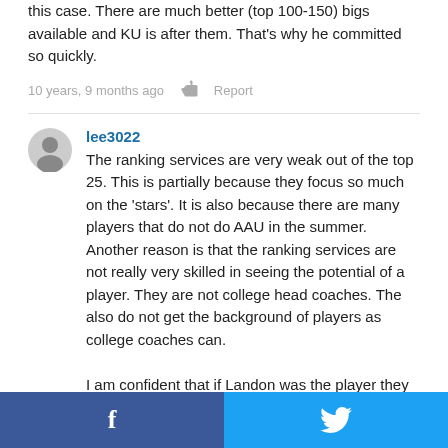this case. There are much better (top 100-150) bigs available and KU is after them. That's why he committed so quickly.
10 years, 9 months ago  Report
lee3022
The ranking services are very weak out of the top 25. This is partially because they focus so much on the 'stars'. It is also because there are many players that do not do AAU in the summer. Another reason is that the ranking services are not really very skilled in seeing the potential of a player. They are not college head coaches. The also do not get the background of players as college coaches can.

I am confident that if Landon was the player they went after when Kaleb chose Arizona he was the player that
f  (Twitter bird icon)